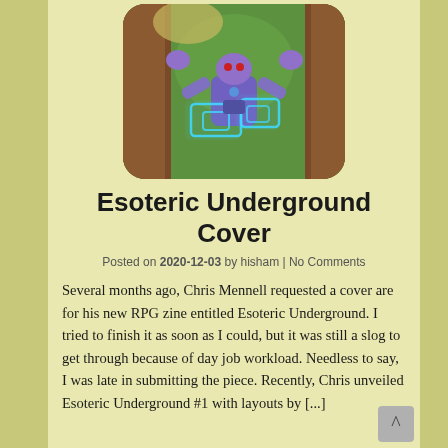[Figure (illustration): Fantasy RPG illustration showing a purple robotic/android figure with red eyes, arms raised, conjuring glowing blue holographic shapes, set against a green background with brown stone pillars on the sides. Image has rounded corners.]
Esoteric Underground Cover
Posted on 2020-12-03 by hisham | No Comments
Several months ago, Chris Mennell requested a cover are for his new RPG zine entitled Esoteric Underground. I tried to finish it as soon as I could, but it was still a slog to get through because of day job workload. Needless to say, I was late in submitting the piece. Recently, Chris unveiled Esoteric Underground #1 with layouts by [...]